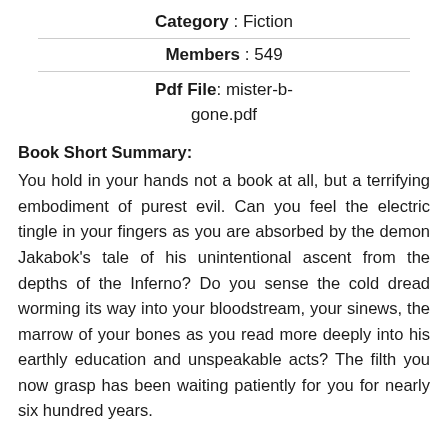Category : Fiction
Members : 549
Pdf File: mister-b-gone.pdf
Book Short Summary:
You hold in your hands not a book at all, but a terrifying embodiment of purest evil. Can you feel the electric tingle in your fingers as you are absorbed by the demon Jakabok’s tale of his unintentional ascent from the depths of the Inferno? Do you sense the cold dread worming its way into your bloodstream, your sinews, the marrow of your bones as you read more deeply into his earthly education and unspeakable acts? The filth you now grasp has been waiting patiently for you for nearly six hundred years.